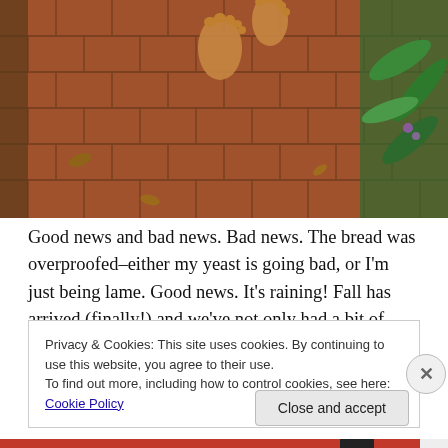[Figure (photo): Bare feet walking on a red-brick herringbone patio path, with green tropical plants to the right side]
Good news and bad news. Bad news. The bread was overproofed–either my yeast is going bad, or I'm just being lame. Good news. It's raining! Fall has arrived (finally!) and we've not only had a bit of rain, but we enjoyed the most dramatic evening  of thunderclaps and lightning. A rare occurrence here. Wonderful. And, well, other good news.
Privacy & Cookies: This site uses cookies. By continuing to use this website, you agree to their use.
To find out more, including how to control cookies, see here: Cookie Policy